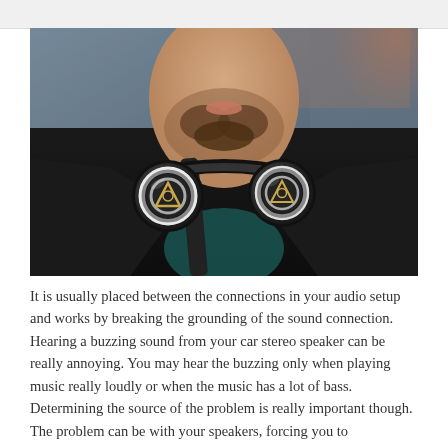[Figure (photo): A bearded man wearing a black jacket with Audio-Technica headphones hanging around his neck, photographed outdoors with a blurred background.]
It is usually placed between the connections in your audio setup and works by breaking the grounding of the sound connection. Hearing a buzzing sound from your car stereo speaker can be really annoying. You may hear the buzzing only when playing music really loudly or when the music has a lot of bass. Determining the source of the problem is really important though. The problem can be with your speakers, forcing you to